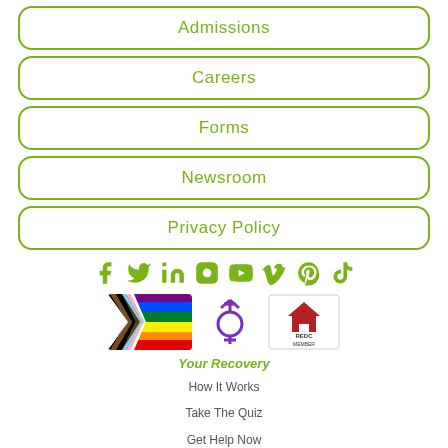Admissions
Careers
Forms
Newsroom
Privacy Policy
[Figure (infographic): Row of social media icons in green: Facebook, Twitter, LinkedIn, Instagram, YouTube, Vimeo, Pinterest, TikTok]
[Figure (infographic): Three badges: Progress Pride flag, transgender symbol in purple, REDC Member logo]
Your Recovery
How It Works
Take The Quiz
Get Help Now
Schedule A Tour